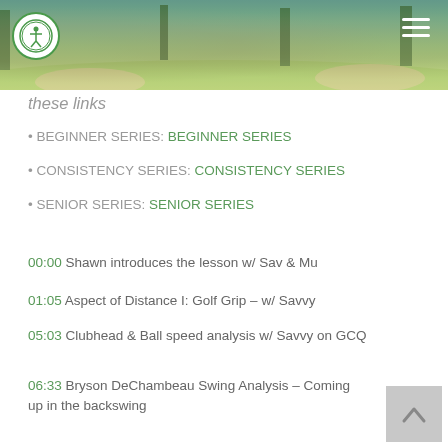[Figure (photo): Golf course banner image with green fairway, trees, sand bunkers, and a logo circle on the left and hamburger menu on the right]
these links
• BEGINNER SERIES: BEGINNER SERIES
• CONSISTENCY SERIES: CONSISTENCY SERIES
• SENIOR SERIES: SENIOR SERIES
00:00 Shawn introduces the lesson w/ Sav & Mu
01:05 Aspect of Distance I: Golf Grip – w/ Savvy
05:03 Clubhead & Ball speed analysis w/ Savvy on GCQ
06:33 Bryson DeChambeau Swing Analysis – Coming up in the backswing